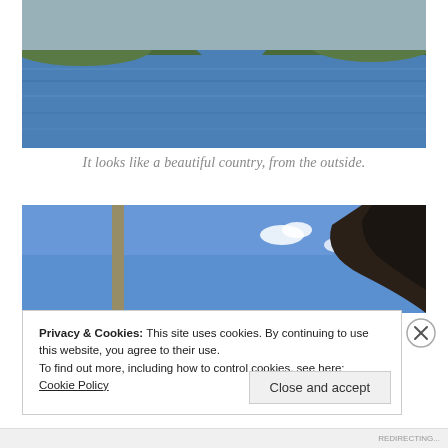[Figure (photo): Landscape photo of a large body of water (lake or river) with green mountains in the background under an overcast sky.]
It looks like a beautiful country, from the outside.
[Figure (photo): Partial photo showing a blue sky with a few clouds, a vertical pole on the left, and the top of a dark-haired person's head on the right.]
Privacy & Cookies: This site uses cookies. By continuing to use this website, you agree to their use.
To find out more, including how to control cookies, see here: Cookie Policy
Close and accept